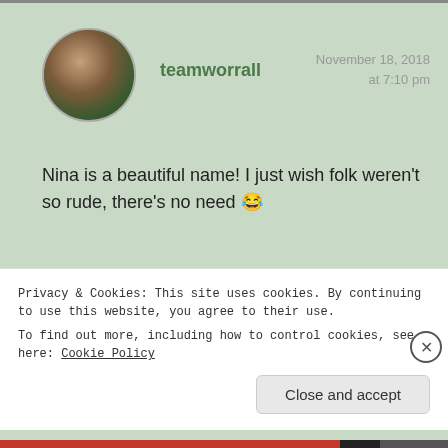[Figure (photo): Circular avatar photo of a woman with curly reddish-brown hair, wearing a red patterned top, outdoors with green background]
teamworrall
November 18, 2018
at 7:10 pm
Nina is a beautiful name! I just wish folk weren't so rude, there's no need 😂
★ Liked by 1 person
Reply
Privacy & Cookies: This site uses cookies. By continuing to use this website, you agree to their use.
To find out more, including how to control cookies, see here: Cookie Policy
Close and accept